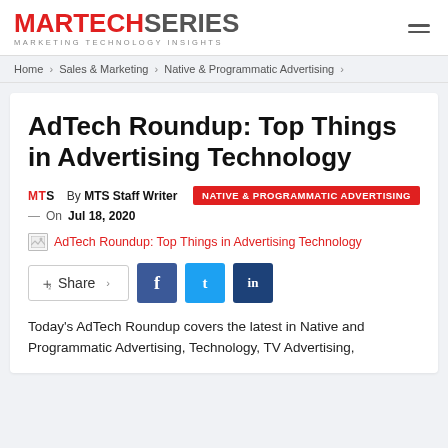MARTECH SERIES — MARKETING TECHNOLOGY INSIGHTS
Home > Sales & Marketing > Native & Programmatic Advertising >
AdTech Roundup: Top Things in Advertising Technology
MTS  By MTS Staff Writer   NATIVE & PROGRAMMATIC ADVERTISING  —  On Jul 18, 2020
[Figure (screenshot): Thumbnail image placeholder with link text: AdTech Roundup: Top Things in Advertising Technology]
Share [Facebook] [Twitter] [LinkedIn]
Today's AdTech Roundup covers the latest in Native and Programmatic Advertising, Technology, TV Advertising,